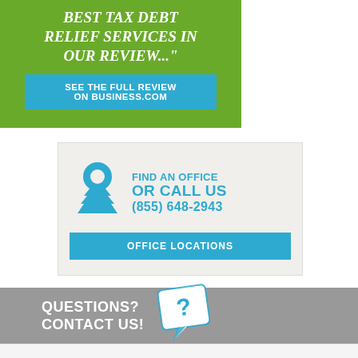BEST TAX DEBT RELIEF SERVICES IN OUR REVIEW..."
SEE THE FULL REVIEW ON BUSINESS.COM
[Figure (infographic): Blue location pin icon with layered trapezoid shapes beneath, representing an office location finder.]
FIND AN OFFICE OR CALL US (855) 648-2943
OFFICE LOCATIONS
QUESTIONS? CONTACT US!
[Figure (illustration): White speech bubble with question mark on light blue background, tilted slightly.]